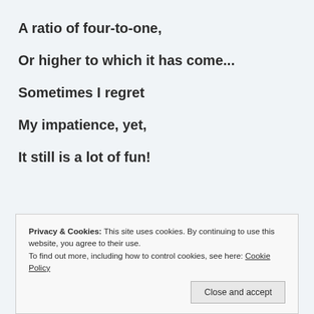A ratio of four-to-one,
Or higher to which it has come...
Sometimes I regret
My impatience, yet,
It still is a lot of fun!
Privacy & Cookies: This site uses cookies. By continuing to use this website, you agree to their use. To find out more, including how to control cookies, see here: Cookie Policy
Close and accept
Poet and this blog's Administrator.